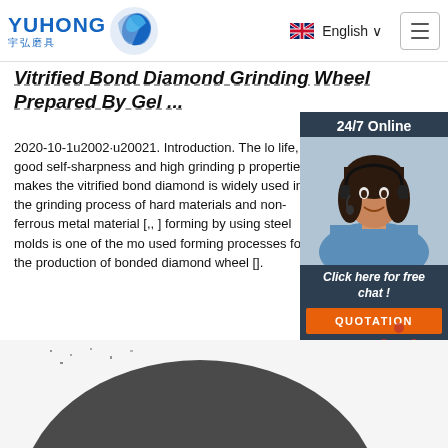YUHONG 宇弘磨具 | English
Vitrified Bond Diamond Grinding Wheel Prepared By Gel ...
2020-10-1u2002·u20021. Introduction. The lo life, good self-sharpness and high grinding p properties makes the vitrified bond diamond is widely used in the grinding process of hard materials and non-ferrous metal material [,, ] forming by using steel molds is one of the mo used forming processes for the production of bonded diamond wheel [].
[Figure (photo): Customer service representative with headset, 24/7 Online chat widget with QUOTATION button]
[Figure (other): TOP navigation button with orange dots forming triangle shape]
[Figure (photo): Dark grey textured grinding wheel disc, partially visible at bottom of page]